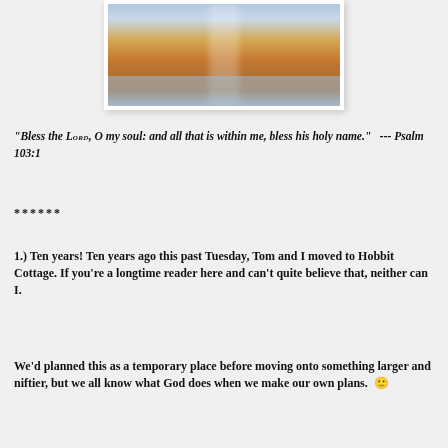[Figure (photo): Autumn path/road with fallen orange and red leaves, trees lining either side, sunlight ahead, with a reflective wet surface in the lower portion.]
"Bless the Lord, O my soul: and all that is within me, bless his holy name."   --- Psalm 103:1
******
1.) Ten years! Ten years ago this past Tuesday, Tom and I moved to Hobbit Cottage. If you're a longtime reader here and can't quite believe that, neither can I.
We'd planned this as a temporary place before moving onto something larger and niftier, but we all know what God does when we make our own plans.  🙂